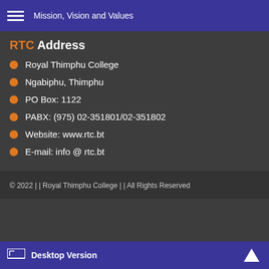Mission, Vision and Values
RTC Address
Royal Thimphu College
Ngabiphu, Thimphu
PO Box: 1122
PABX: (975) 02-351801/02-351802
Website: www.rtc.bt
E-mail: info @ rtc.bt
© 2022 | | Royal Thimphu College | | All Rights Reserved
Desktop Version